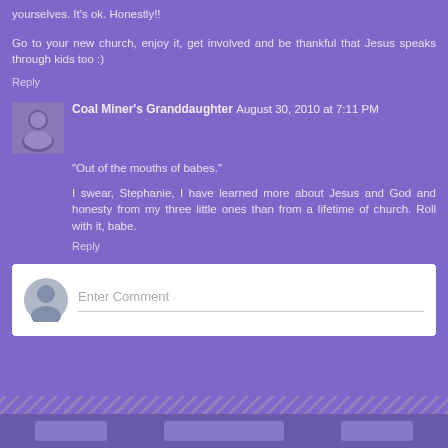yourselves. It's ok. Honestly!!
Go to your new church, enjoy it, get involved and be thankful that Jesus speaks through kids too :)
Reply
Coal Miner's Granddaughter  August 30, 2010 at 7:11 PM
"Out of the mouths of babes."
I swear, Stephanie, I have learned more about Jesus and God and honesty from my three little ones than from a lifetime of church. Roll with it, babe.
Reply
[Figure (other): Enter Comment input box with user avatar icon placeholder]
[Figure (other): Footer stripe pattern and navigation buttons]